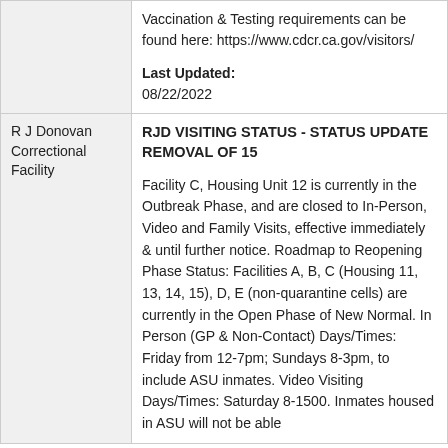Vaccination & Testing requirements can be found here: https://www.cdcr.ca.gov/visitors/
Last Updated: 08/22/2022
R J Donovan Correctional Facility
RJD VISITING STATUS - STATUS UPDATE REMOVAL OF 15
Facility C, Housing Unit 12 is currently in the Outbreak Phase, and are closed to In-Person, Video and Family Visits, effective immediately & until further notice. Roadmap to Reopening Phase Status: Facilities A, B, C (Housing 11, 13, 14, 15), D, E (non-quarantine cells) are currently in the Open Phase of New Normal. In Person (GP & Non-Contact) Days/Times: Friday from 12-7pm; Sundays 8-3pm, to include ASU inmates. Video Visiting Days/Times: Saturday 8-1500. Inmates housed in ASU will not be able